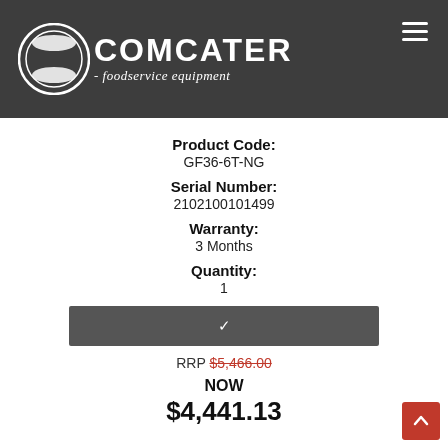[Figure (logo): Comcater foodservice equipment logo with white circle graphic and text on dark grey background]
Product Code:
GF36-6T-NG
Serial Number:
2102100101499
Warranty:
3 Months
Quantity:
1
RRP $5,466.00
NOW
$4,441.13